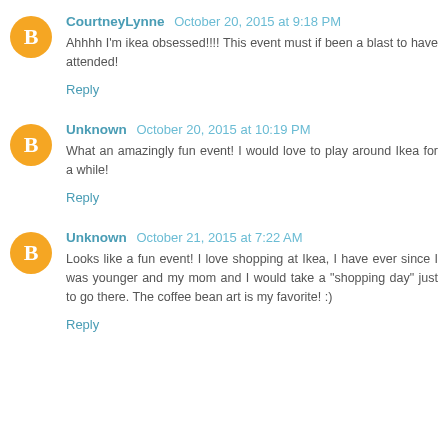CourtneyLynne October 20, 2015 at 9:18 PM
Ahhhh I'm ikea obsessed!!!! This event must if been a blast to have attended!
Reply
Unknown October 20, 2015 at 10:19 PM
What an amazingly fun event! I would love to play around Ikea for a while!
Reply
Unknown October 21, 2015 at 7:22 AM
Looks like a fun event! I love shopping at Ikea, I have ever since I was younger and my mom and I would take a "shopping day" just to go there. The coffee bean art is my favorite! :)
Reply